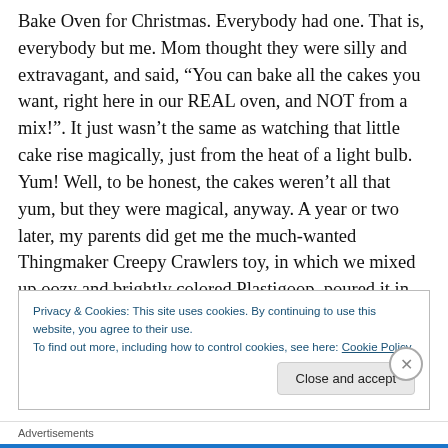Bake Oven for Christmas. Everybody had one. That is, everybody but me. Mom thought they were silly and extravagant, and said, “You can bake all the cakes you want, right here in our REAL oven, and NOT from a mix!”. It just wasn’t the same as watching that little cake rise magically, just from the heat of a light bulb. Yum! Well, to be honest, the cakes weren’t all that yum, but they were magical, anyway. A year or two later, my parents did get me the much-wanted Thingmaker Creepy Crawlers toy, in which we mixed up oozy and brightly colored Plastigoop, poured it in molds, and placed it on an electric hot plate
Privacy & Cookies: This site uses cookies. By continuing to use this website, you agree to their use.
To find out more, including how to control cookies, see here: Cookie Policy
Close and accept
Advertisements